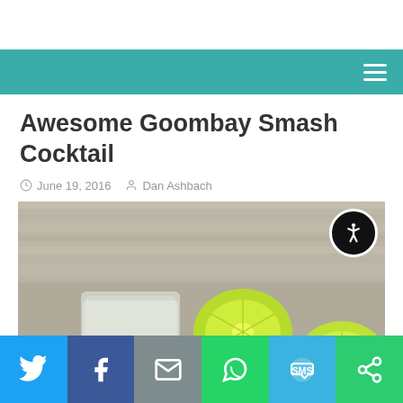Awesome Goombay Smash Cocktail
June 19, 2016   Dan Ashbach
[Figure (photo): Cocktail drinks with lemon/lime slices garnish on a wooden surface. Accessibility button overlay in top-right corner.]
Social share bar: Twitter, Facebook, Email, WhatsApp, SMS, Other